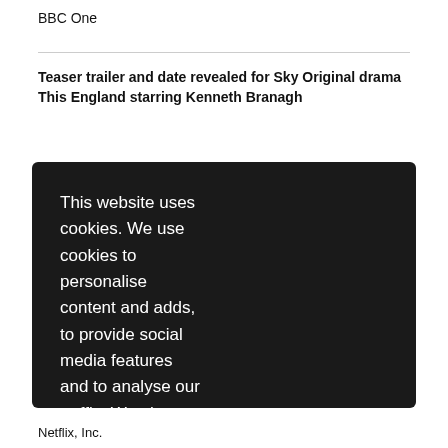BBC One
Teaser trailer and date revealed for Sky Original drama This England starring Kenneth Branagh
This website uses cookies. We use cookies to personalise content and adds, to provide social media features and to analyse our traffic. We also share information about your use of our site with our social media, advertising and analytics partners who may combine it with other information that you've provided to them or that they've collected from your use of their services. Learn more
Netflix, Inc.